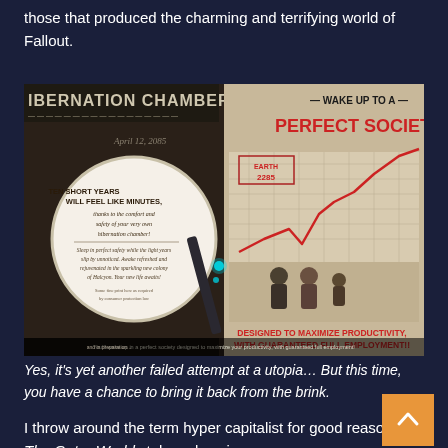those that produced the charming and terrifying world of Fallout.
[Figure (screenshot): Screenshot from The Outer Worlds game showing retro-futuristic propaganda advertisements. Left side shows a circular magnifying glass over text reading 'HIBERNATION CHAMBER - TEN SHORT YEARS WILL FEEL LIKE MINUTES, thanks to the comfort and safety of your very own hibernation chamber!' Right side shows a poster reading 'WAKE UP TO A PERFECT SOCIETY' with a red line graph and a 1950s-style family illustration, text at bottom reads 'DESIGNED TO MAXIMIZE PRODUCTIVITY, WITH GUARANTEED FULL EMPLOYMENT!!']
Yes, it's yet another failed attempt at a utopia… But this time, you have a chance to bring it back from the brink.
I throw around the term hyper capitalist for good reason. The Outer Worlds takes place in a space